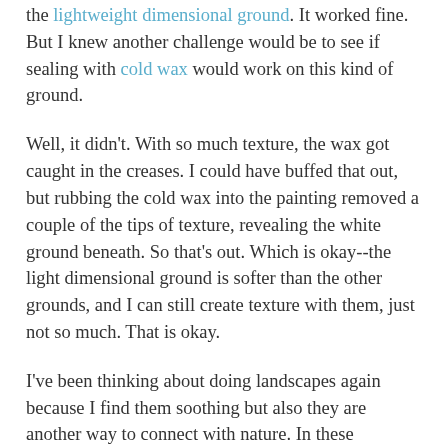the lightweight dimensional ground. It worked fine. But I knew another challenge would be to see if sealing with cold wax would work on this kind of ground.
Well, it didn't. With so much texture, the wax got caught in the creases. I could have buffed that out, but rubbing the cold wax into the painting removed a couple of the tips of texture, revealing the white ground beneath. So that's out. Which is okay--the light dimensional ground is softer than the other grounds, and I can still create texture with them, just not so much. That is okay.
I've been thinking about doing landscapes again because I find them soothing but also they are another way to connect with nature. In these tumultuous times, I thought maybe people need an escape. But then I realize it might be better to think of them as respite. A peaceful, nourishing place allows for not